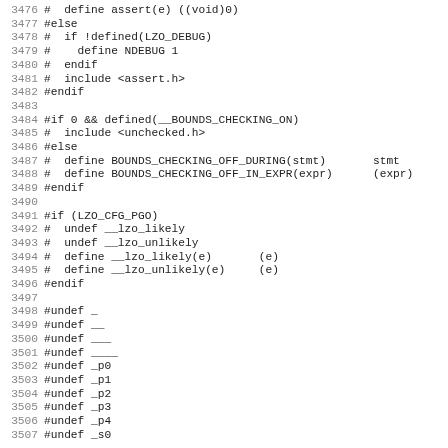[Figure (screenshot): Source code listing in monospace font showing C preprocessor directives, line numbers 3476-3507, including assert, BOUNDS_CHECKING, LZO_CFG_PGO, and #undef directives.]